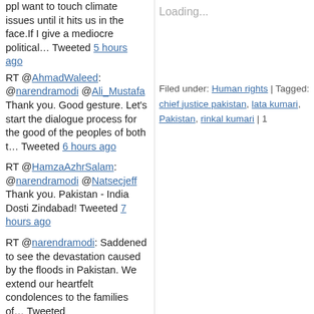ppl want to touch climate issues until it hits us in the face.If I give a mediocre political... Tweeted 5 hours ago
RT @AhmadWaleed: @narendramodi @Ali_Mustafa Thank you. Good gesture. Let's start the dialogue process for the good of the peoples of both t... Tweeted 6 hours ago
RT @HamzaAzhrSalam: @narendramodi @Natsecjeff Thank you. Pakistan - India Dosti Zindabad! Tweeted 7 hours ago
RT @narendramodi: Saddened to see the devastation caused by the floods in Pakistan. We extend our heartfelt condolences to the families of... Tweeted
Loading...
Filed under: Human rights | Tagged: chief justice pakistan, lata kumari, Pakistan, rinkal kumari | 1